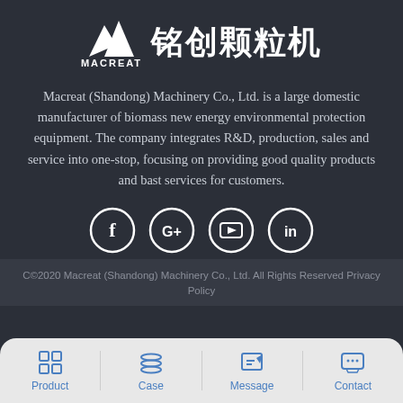[Figure (logo): MACREAT logo with mountain/peaks icon and Chinese text 铭创颗粒机]
Macreat (Shandong) Machinery Co., Ltd. is a large domestic manufacturer of biomass new energy environmental protection equipment. The company integrates R&D, production, sales and service into one-stop, focusing on providing good quality products and bast services for customers.
[Figure (other): Social media icons row: Facebook, Google+, YouTube, LinkedIn — circular white outline icons on dark background]
C©2020 Macreat (Shandong) Machinery Co., Ltd. All Rights Reserved Privacy Policy
[Figure (other): Bottom navigation bar with four items: Product (grid icon), Case (layers icon), Message (edit icon), Contact (chat icon)]